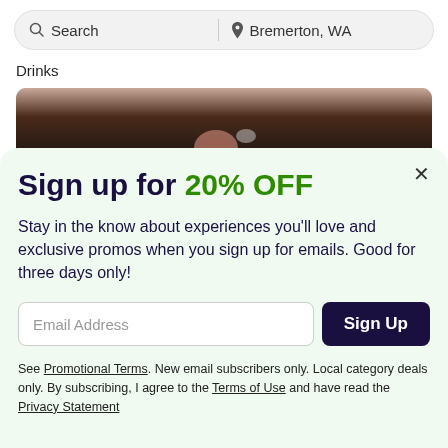Search | Bremerton, WA
Drinks
[Figure (photo): Close-up photo of a person drinking from a can, showing the top of head and ear]
Sign up for 20% OFF
Stay in the know about experiences you'll love and exclusive promos when you sign up for emails. Good for three days only!
Email Address [input field] Sign Up [button]
See Promotional Terms. New email subscribers only. Local category deals only. By subscribing, I agree to the Terms of Use and have read the Privacy Statement